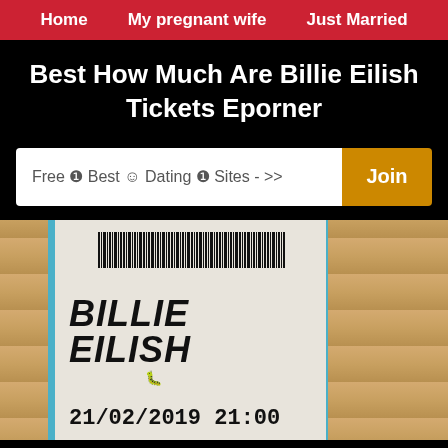Home   My pregnant wife   Just Married
Best How Much Are Billie Eilish Tickets Eporner
Free ❶ Best ☺ Dating ❶ Sites - >>  Join
[Figure (photo): Photo of a Billie Eilish concert ticket showing barcode, artist name 'BILLIE EILISH', date '21/02/2019 21:00', venue 'FABRIQUE Milano', placed on a wooden surface with blue tape on the left edge.]